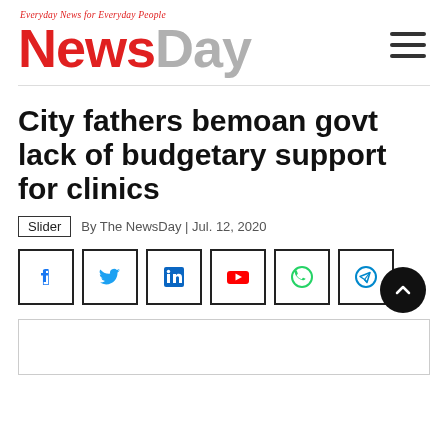NewsDay — Everyday News for Everyday People
City fathers bemoan govt lack of budgetary support for clinics
Slider | By The NewsDay | Jul. 12, 2020
[Figure (other): Social media share buttons: Facebook, Twitter, LinkedIn, YouTube, WhatsApp, Telegram]
[Figure (other): Article image placeholder (partially visible at bottom of page)]